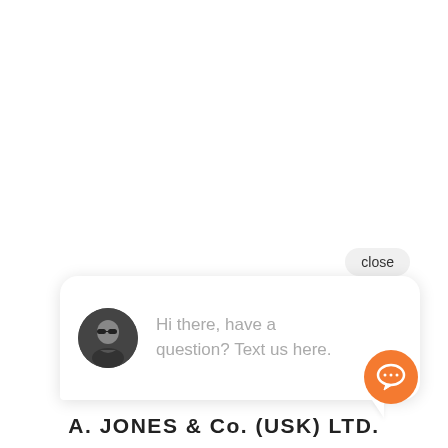close
[Figure (screenshot): Chat widget bubble with avatar photo of a person wearing sunglasses (black and white), showing the message: Hi there, have a question? Text us here.]
[Figure (logo): Orange circle chat icon button with white speech bubble symbol]
A. JONES & Co. (USK) LTD.